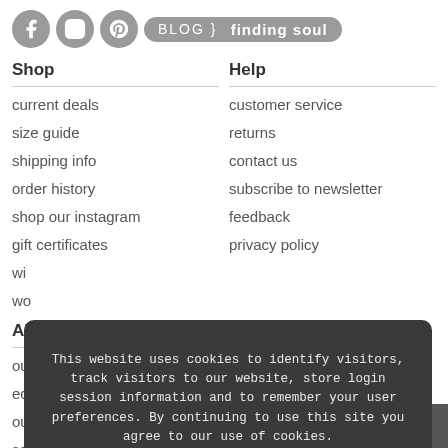[Figure (other): Social media icons (Facebook, Instagram, Pinterest) and blog button 'BLOG } finding soul' on gray rounded background]
Shop
current deals
size guide
shipping info
order history
shop our instagram
gift certificates
wi...
wo...
Help
customer service
returns
contact us
subscribe to newsletter
feedback
privacy policy
Ab...
ou...
ec...
ou...
sc...
ou...
This website uses cookies to identify visitors, track visitors to our website, store login session information and to remember your user preferences. By continuing to use this site you agree to our use of cookies. Learn More
Accept